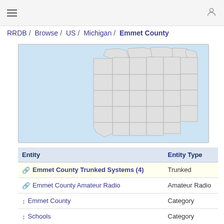≡  [user icon]
RRDB / Browse / US / Michigan / Emmet County
[Figure (map): Partial map of Michigan state showing county outlines in light gray on a light blue background, highlighting the lower peninsula counties.]
| Entity | Entity Type |
| --- | --- |
| 🔗 Emmet County Trunked Systems (4) | Trunked |
| 🔗 Emmet County Amateur Radio | Amateur Radio |
| ↕ Emmet County | Category |
| ↕ Schools | Category |
| 🔗 Businesses, Railroads, Media, Attractions and Recreation | Business Group |